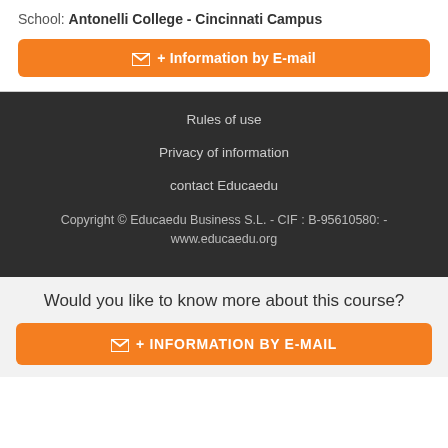School: Antonelli College - Cincinnati Campus
+ Information by E-mail
Rules of use
Privacy of information
contact Educaedu
Copyright © Educaedu Business S.L. - CIF : B-95610580: - www.educaedu.org
Would you like to know more about this course?
+ INFORMATION BY E-MAIL